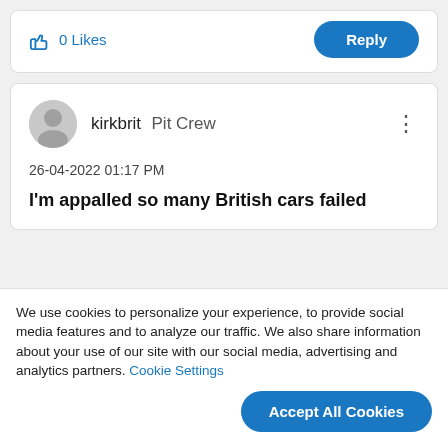0 Likes
Reply
kirkbrit  Pit Crew
26-04-2022 01:17 PM
I'm appalled so many British cars failed
We use cookies to personalize your experience, to provide social media features and to analyze our traffic. We also share information about your use of our site with our social media, advertising and analytics partners. Cookie Settings
Accept All Cookies